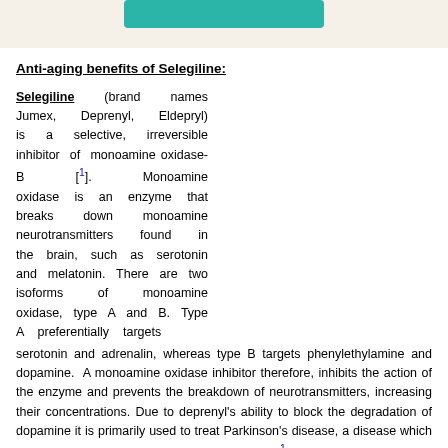[Figure (other): Teal/green rounded rectangle button or banner at top center of page]
Anti-aging benefits of Selegiline:
Selegiline (brand names Jumex, Deprenyl, Eldepryl) is a selective, irreversible inhibitor of monoamine oxidase-B [1]. Monoamine oxidase is an enzyme that breaks down monoamine neurotransmitters found in the brain, such as serotonin and melatonin. There are two isoforms of monoamine oxidase, type A and B. Type A preferentially targets serotonin and adrenalin, whereas type B targets phenylethylamine and dopamine. A monoamine oxidase inhibitor therefore, inhibits the action of the enzyme and prevents the breakdown of neurotransmitters, increasing their concentrations. Due to deprenyl's ability to block the degradation of dopamine it is primarily used to treat Parkinson's disease, a disease which results from low levels of dopamine production [1].
Deprenyl is normally used for the treatment of the early stages of Parkinson's disease and is then used as an adjunctive therapy beside levodopa as the disease progresses. Deprenyl is generally taken at doses